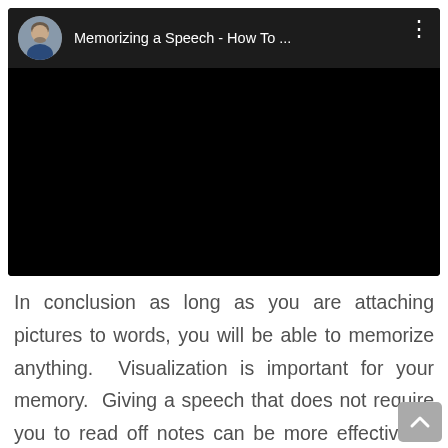[Figure (screenshot): Video player thumbnail showing a dark/black screen with a video header containing a circular avatar photo of a man and the title 'Memorizing a Speech - How To ...' with a three-dot menu icon]
In conclusion as long as you are attaching pictures to words, you will be able to memorize anything.  Visualization is important for your memory.  Giving a speech that does not require you to read off notes can be more effective to your audience.  Being a great speaker can be very inspirational and motivational to many...